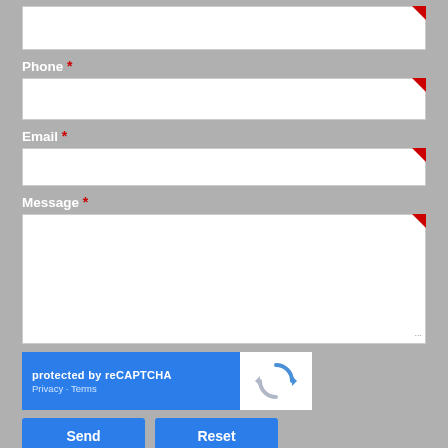[unlabeled input field at top — partial]
Phone *
Email *
Message *
[Figure (screenshot): reCAPTCHA widget: blue left panel with 'protected by reCAPTCHA', Privacy · Terms links; white right panel with reCAPTCHA logo (circular arrows icon)]
Send
Reset